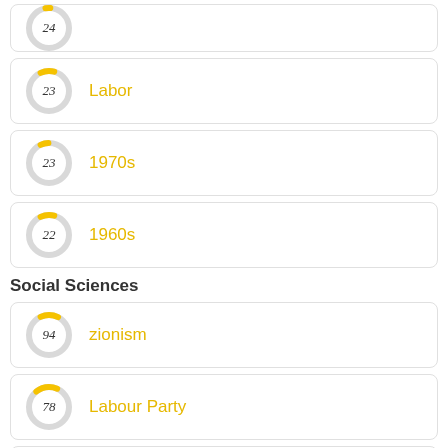[Figure (donut-chart): ]
[Figure (donut-chart): ]
[Figure (donut-chart): ]
[Figure (donut-chart): ]
Social Sciences
[Figure (donut-chart): ]
[Figure (donut-chart): ]
[Figure (donut-chart): ]